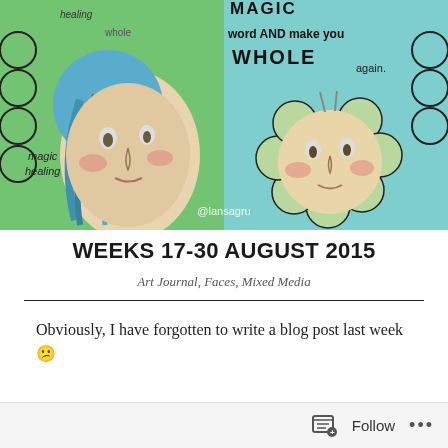[Figure (illustration): Art journal spread showing two illustrated faces with mixed media. Left face: a woman with blue hair and rosy cheeks on a green background with text 'magic healing'. Right face: a sun/flower character with rosy cheeks on a teal background. Text reads 'MAGIC healing whole word AND make you WHOLE again'. Watermark '@lansagru' visible at bottom center.]
WEEKS 17-30 AUGUST 2015
Art Journal, Faces, Mixed Media
Obviously, I have forgotten to write a blog post last week 😕